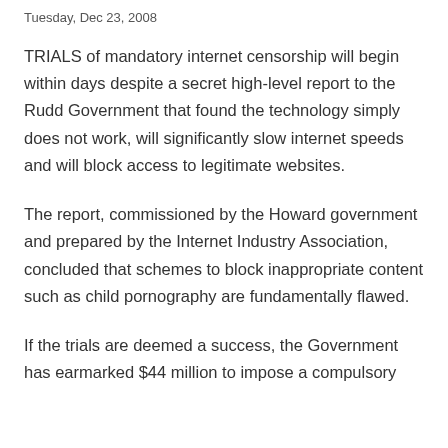Tuesday, Dec 23, 2008
TRIALS of mandatory internet censorship will begin within days despite a secret high-level report to the Rudd Government that found the technology simply does not work, will significantly slow internet speeds and will block access to legitimate websites.
The report, commissioned by the Howard government and prepared by the Internet Industry Association, concluded that schemes to block inappropriate content such as child pornography are fundamentally flawed.
If the trials are deemed a success, the Government has earmarked $44 million to impose a compulsory